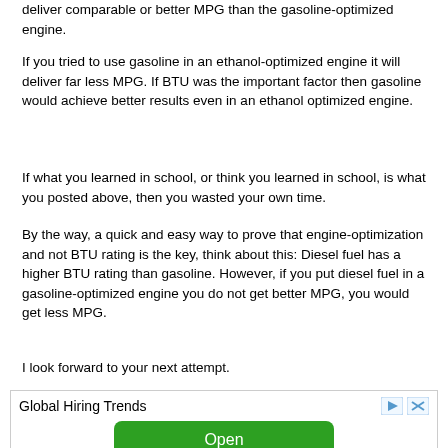deliver comparable or better MPG than the gasoline-optimized engine.
If you tried to use gasoline in an ethanol-optimized engine it will deliver far less MPG. If BTU was the important factor then gasoline would achieve better results even in an ethanol optimized engine.
If what you learned in school, or think you learned in school, is what you posted above, then you wasted your own time.
By the way, a quick and easy way to prove that engine-optimization and not BTU rating is the key, think about this: Diesel fuel has a higher BTU rating than gasoline. However, if you put diesel fuel in a gasoline-optimized engine you do not get better MPG, you would get less MPG.
I look forward to your next attempt.
[Figure (other): Advertisement banner with title 'Global Hiring Trends' and a green 'Open' button, labeled 'Ad']